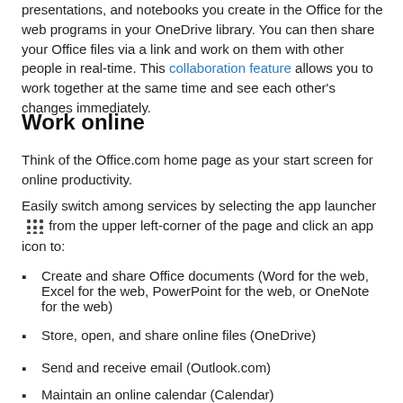presentations, and notebooks you create in the Office for the web programs in your OneDrive library. You can then share your Office files via a link and work on them with other people in real-time. This collaboration feature allows you to work together at the same time and see each other's changes immediately.
Work online
Think of the Office.com home page as your start screen for online productivity.
Easily switch among services by selecting the app launcher [icon] from the upper left-corner of the page and click an app icon to:
Create and share Office documents (Word for the web, Excel for the web, PowerPoint for the web, or OneNote for the web)
Store, open, and share online files (OneDrive)
Send and receive email (Outlook.com)
Maintain an online calendar (Calendar)